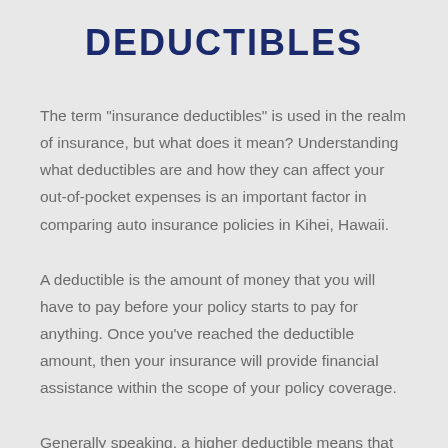DEDUCTIBLES
The term "insurance deductibles" is used in the realm of insurance, but what does it mean? Understanding what deductibles are and how they can affect your out-of-pocket expenses is an important factor in comparing auto insurance policies in Kihei, Hawaii.
A deductible is the amount of money that you will have to pay before your policy starts to pay for anything. Once you've reached the deductible amount, then your insurance will provide financial assistance within the scope of your policy coverage.
Generally speaking, a higher deductible means that